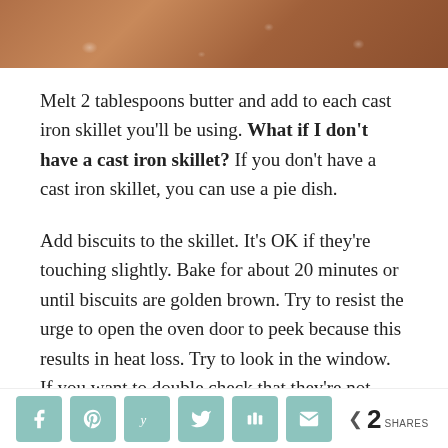[Figure (photo): Close-up photo strip of baked biscuits with golden-brown top, showing texture of crust]
Melt 2 tablespoons butter and add to each cast iron skillet you'll be using. What if I don't have a cast iron skillet? If you don't have a cast iron skillet, you can use a pie dish.
Add biscuits to the skillet. It's OK if they're touching slightly. Bake for about 20 minutes or until biscuits are golden brown. Try to resist the urge to open the oven door to peek because this results in heat loss. Try to look in the window. If you want to double check that they're not burning, try to wait until the
< 2 SHARES